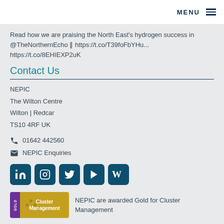MENU
Read how we are praising the North East's hydrogen success in @TheNorthernEcho ‖ https://t.co/T39foFbYHu... https://t.co/8EHIEXP2uK
Contact Us
NEPIC
The Wilton Centre
Wilton | Redcar
TS10 4RF UK
01642 442560
NEPIC Enquiries
[Figure (infographic): Social media icons: LinkedIn, Instagram, Twitter, YouTube/Play, Wikipedia]
[Figure (infographic): Cluster Management Gold badge with text: NEPIC are awarded Gold for Cluster Management]